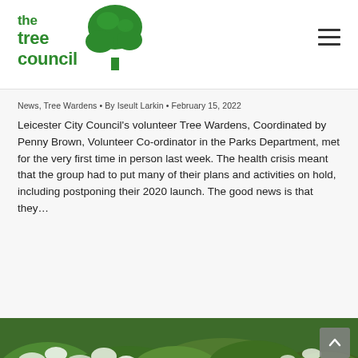the tree council
News, Tree Wardens • By Iseult Larkin • February 15, 2022
Leicester City Council's volunteer Tree Wardens, Coordinated by Penny Brown, Volunteer Co-ordinator in the Parks Department, met for the very first time in person last week. The health crisis meant that the group had to put many of their plans and activities on hold, including postponing their 2020 launch. The good news is that they…
[Figure (photo): Outdoor scene showing green foliage, shrubs, and white flowering plants viewed from above — likely hawthorn or similar hedge plants in bloom.]